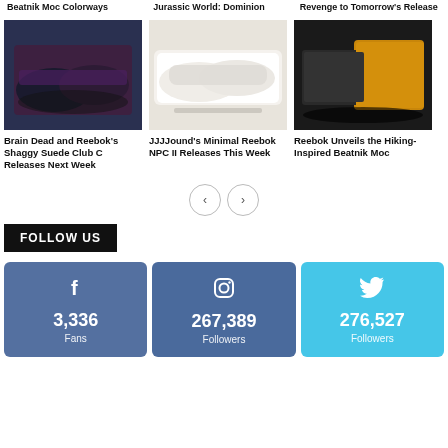[Figure (photo): Dark blue/purple suede sneaker (Brain Dead x Reebok Shaggy Suede Club C)]
Brain Dead and Reebok's Shaggy Suede Club C Releases Next Week
[Figure (photo): White minimal Reebok NPC II sneaker on white surface]
JJJJound's Minimal Reebok NPC II Releases This Week
[Figure (photo): Hiking-inspired Beatnik Moc sneaker in yellow/black]
Reebok Unveils the Hiking-Inspired Beatnik Moc
FOLLOW US
[Figure (infographic): Facebook social stats: 3,336 Fans]
[Figure (infographic): Instagram social stats: 267,389 Followers]
[Figure (infographic): Twitter social stats: 276,527 Followers]